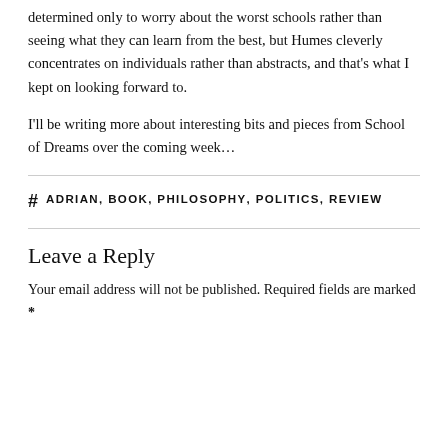determined only to worry about the worst schools rather than seeing what they can learn from the best, but Humes cleverly concentrates on individuals rather than abstracts, and that's what I kept on looking forward to.
I'll be writing more about interesting bits and pieces from School of Dreams over the coming week…
# ADRIAN, BOOK, PHILOSOPHY, POLITICS, REVIEW
Leave a Reply
Your email address will not be published. Required fields are marked *